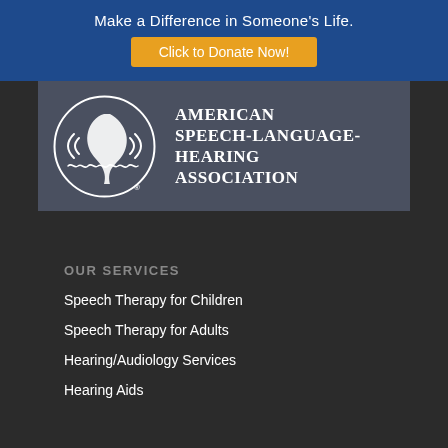Make a Difference in Someone's Life.
Click to Donate Now!
[Figure (logo): American Speech-Language-Hearing Association logo with circular emblem showing a face profile and sound waves, with full organization name in serif font]
OUR SERVICES
Speech Therapy for Children
Speech Therapy for Adults
Hearing/Audiology Services
Hearing Aids